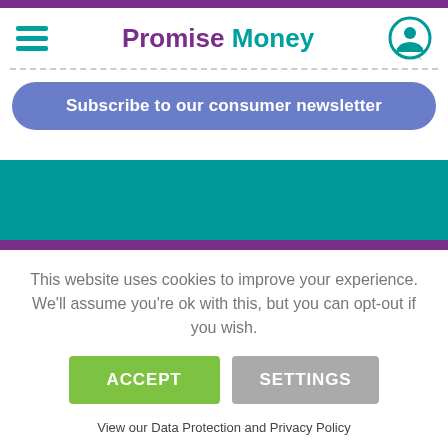Promise Money
Subscribe to our consumer newsletter
This website uses cookies to improve your experience. We'll assume you're ok with this, but you can opt-out if you wish.
ACCEPT
SETTINGS
View our Data Protection and Privacy Policy